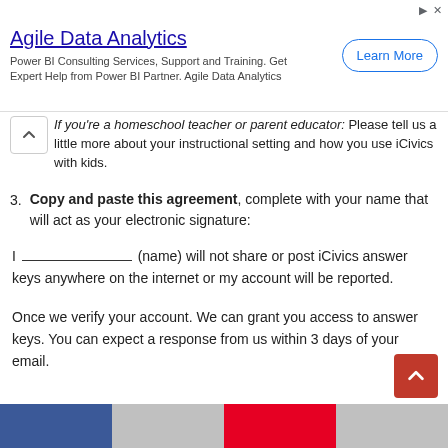[Figure (other): Advertisement banner: Agile Data Analytics - Power BI Consulting Services, Support and Training. Get Expert Help from Power BI Partner. Agile Data Analytics. With a Learn More button.]
If you're a homeschool teacher or parent educator: Please tell us a little more about your instructional setting and how you use iCivics with kids.
3. Copy and paste this agreement, complete with your name that will act as your electronic signature:
I _______________ (name) will not share or post iCivics answer keys anywhere on the internet or my account will be reported.
Once we verify your account. We can grant you access to answer keys. You can expect a response from us within 3 days of your email.